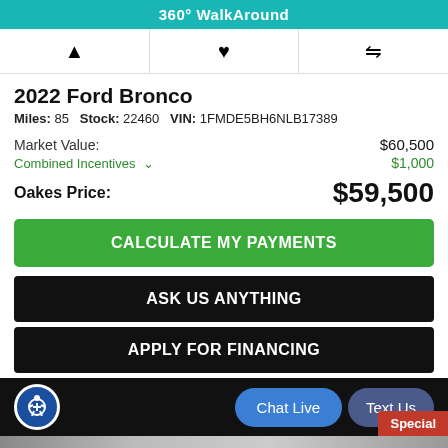360° WalkAround
2022 Ford Bronco
Miles: 85   Stock: 22460   VIN: 1FMDE5BH6NLB17389
Market Value: $60,500
Combined Incentives ∨ $1,000
Oakes Price: $59,500
CALCULATE MY PAYMENTS
ASK US ANYTHING
APPLY FOR FINANCING
Chat Live   Text Us   Special
Alerts   Save   Compare 0   Login